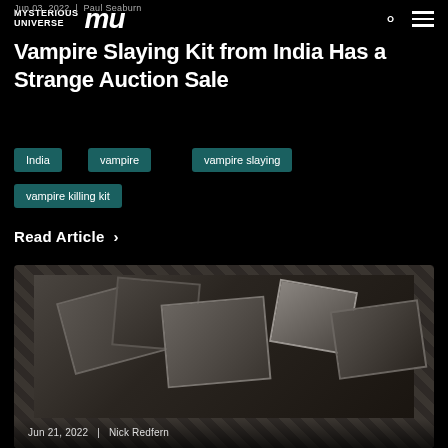MYSTERIOUS UNIVERSE | MU
Jun 03, 2022 | Paul Seaburn
Vampire Slaying Kit from India Has a Strange Auction Sale
India
vampire
vampire slaying
vampire killing kit
Read Article ›
[Figure (photo): A pile of old photographs and framed pictures stacked together in a dark setting]
Jun 21, 2022 | Nick Redfern